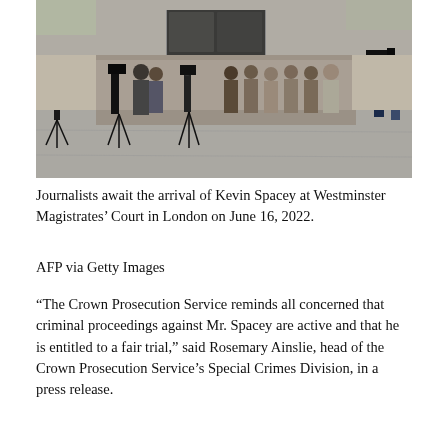[Figure (photo): Journalists and camera operators gather outside Westminster Magistrates' Court in London, with tripods and video cameras set up, and a crowd of people in the background near the building entrance.]
Journalists await the arrival of Kevin Spacey at Westminster Magistrates' Court in London on June 16, 2022.
AFP via Getty Images
“The Crown Prosecution Service reminds all concerned that criminal proceedings against Mr. Spacey are active and that he is entitled to a fair trial,” said Rosemary Ainslie, head of the Crown Prosecution Service’s Special Crimes Division, in a press release.